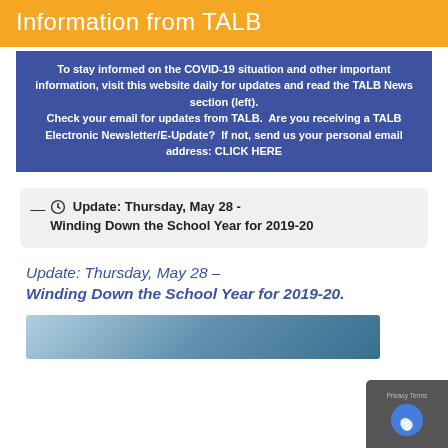Information from TALB
To stay informed on the COVID-19 situation and other important information, visit this website daily for updates and read the TALB News section (left). Check your email for updates from TALB.  Are you receiving a TALB Electronic Newsletter/E-Update?  If not, send us your personal email address: CLICK HERE
Update: Thursday, May 28 - Winding Down the School Year for 2019-20
Update: Thursday, May 28 – Winding Down the School Year for 2019-20.
[Figure (photo): Partial image of a blue ocean/water scene at the bottom of the page]